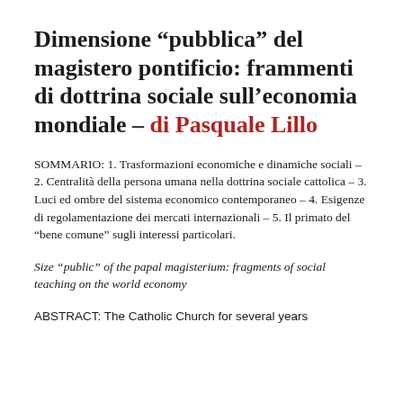Dimensione “pubblica” del magistero pontificio: frammenti di dottrina sociale sull’economia mondiale – di Pasquale Lillo
SOMMARIO: 1. Trasformazioni economiche e dinamiche sociali – 2. Centralità della persona umana nella dottrina sociale cattolica – 3. Luci ed ombre del sistema economico contemporaneo – 4. Esigenze di regolamentazione dei mercati internazionali – 5. Il primato del “bene comune” sugli interessi particolari.
Size “public” of the papal magisterium: fragments of social teaching on the world economy
ABSTRACT: The Catholic Church for several years